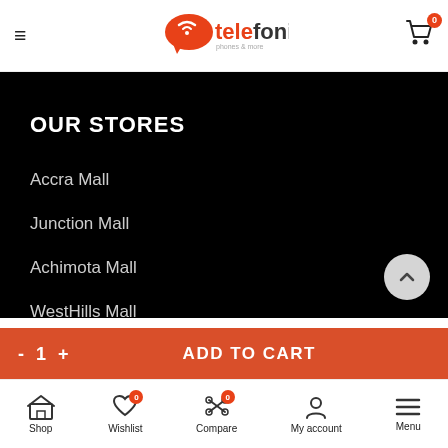Telefonika — mobile store header with hamburger menu and cart icon (0 items)
OUR STORES
Accra Mall
Junction Mall
Achimota Mall
WestHills Mall
Plams Square-Palace
Kumasi Mall
- 1 + ADD TO CART
Shop | Wishlist 0 | Compare 0 | My account | Menu